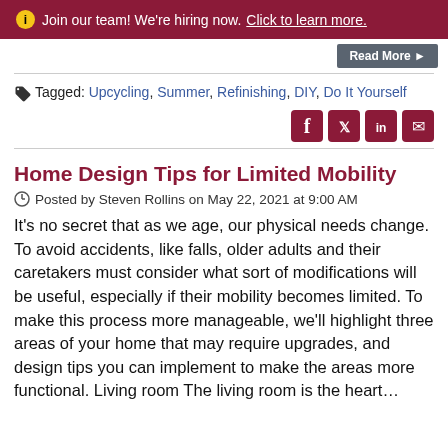ⓘ Join our team! We're hiring now. Click to learn more.
Read More ➤
Tagged: Upcycling, Summer, Refinishing, DIY, Do It Yourself
[Figure (other): Social share icons: Facebook, Twitter, LinkedIn, Email]
Home Design Tips for Limited Mobility
Posted by Steven Rollins on May 22, 2021 at 9:00 AM
It's no secret that as we age, our physical needs change. To avoid accidents, like falls, older adults and their caretakers must consider what sort of modifications will be useful, especially if their mobility becomes limited. To make this process more manageable, we'll highlight three areas of your home that may require upgrades, and design tips you can implement to make the areas more functional. Living room The living room is the heart...